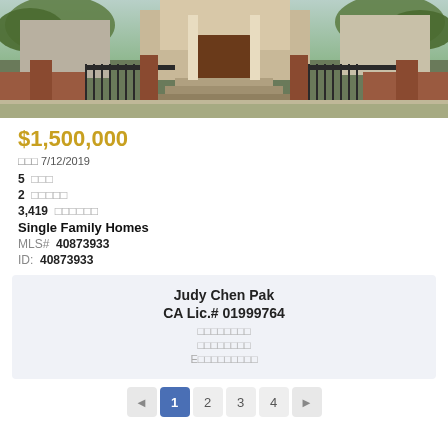[Figure (photo): Exterior photo of a residential property with iron fence, brick pillars, front steps, and landscaping]
$1,500,000
□□□ 7/12/2019
5  □□□
2  □□□□□
3,419  □□□□□□
Single Family Homes
MLS# 40873933
ID:  40873933
Judy Chen Pak
CA Lic.# 01999764
□□□□□□□□
□□□□□□□□
E□□□□□□□□□
◄  1  2  3  4  ►